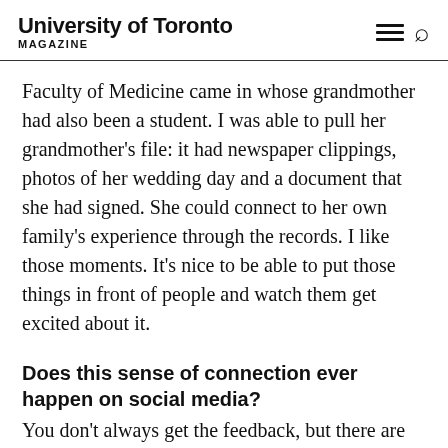University of Toronto MAGAZINE
Faculty of Medicine came in whose grandmother had also been a student. I was able to pull her grandmother's file: it had newspaper clippings, photos of her wedding day and a document that she had signed. She could connect to her own family's experience through the records. I like those moments. It's nice to be able to put those things in front of people and watch them get excited about it.
Does this sense of connection ever happen on social media?
You don't always get the feedback, but there are moments of connection like when I posted mathematician John Field's notebooks, and someone from The Fields Institute tweeted at us